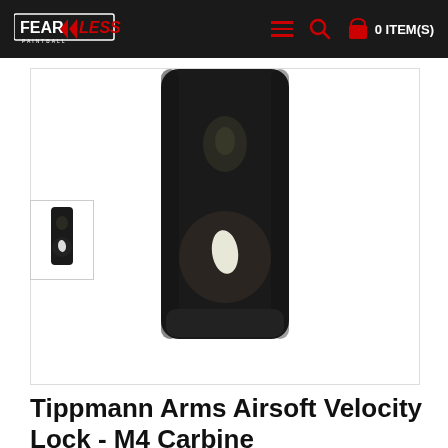Fearless Paintball — 0 ITEM(S)
[Figure (photo): Close-up photo of a dark metal Tippmann Arms Airsoft Velocity Lock part for M4 Carbine, showing two holes/openings in the metal component against a black background.]
Tippmann Arms Airsoft Velocity Lock - M4 Carbine